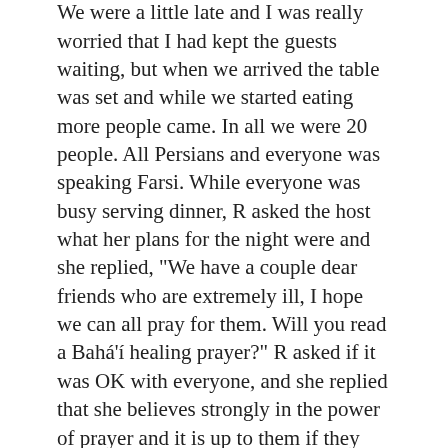Amazing is not even the word!
We were a little late and I was really worried that I had kept the guests waiting, but when we arrived the table was set and while we started eating more people came. In all we were 20 people. All Persians and everyone was speaking Farsi. While everyone was busy serving dinner, R asked the host what her plans for the night were and she replied, "We have a couple dear friends who are extremely ill, I hope we can all pray for them. Will you read a Bahá'í healing prayer?" R asked if it was OK with everyone, and she replied that she believes strongly in the power of prayer and it is up to them if they would like to open their hearts or not. While we were eating the phone rang and the host picked it up then she handed the phone to R. It was her husband, who was travelling at the time. He was calling to welcome us to his home and expressed his desire to meet with us on his return.
After dinner, little by little people left the table and